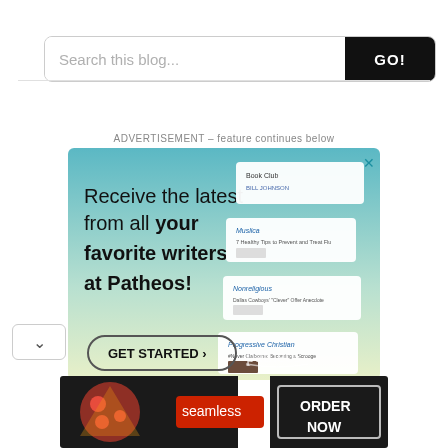[Figure (screenshot): Search bar with text input 'Search this blog...' and black 'GO!' button on the right]
ADVERTISEMENT – feature continues below
[Figure (infographic): Patheos advertisement: 'Receive the latest from all your favorite writers at Patheos!' with GET STARTED button and Patheos logo, teal gradient background with overlapping blog card screenshots]
[Figure (infographic): Seamless food delivery advertisement showing pizza image, red 'seamless' logo, and 'ORDER NOW' button]